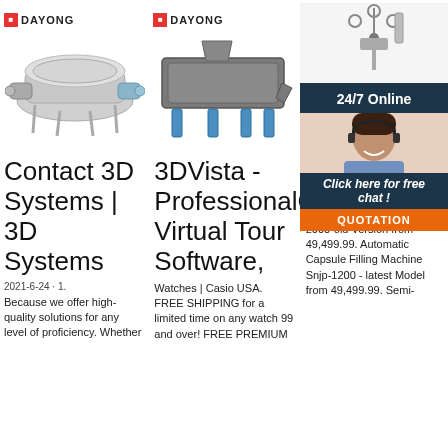[Figure (logo): Dayong logo with red square icon and DAYONG text]
[Figure (logo): Dayong logo with red square icon and DAYONG text]
[Figure (photo): Circular vibrating sieve/screener machine, stainless steel, with blue motor attachments]
[Figure (photo): Rectangular linear vibrating sieve machine, grey/blue industrial equipment]
[Figure (infographic): 24/7 Online support widget with woman wearing headset, showing chat and quotation buttons]
Contact 3D Systems | 3D Systems
3DVista - ProfessionalCa Virtual Tour Software,
W
2021-6-24 · 1. Because we offer high-quality solutions for any level of proficiency. Whether
Watches | Casio USA. FREE SHIPPING for a limited time on any watch 99 and over! FREE PREMIUM
Auto Filling 2000-old Version from 49,499.99. Automatic Capsule Filling Machine Snjp-1200 - latest Model from 49,499.99. Semi-